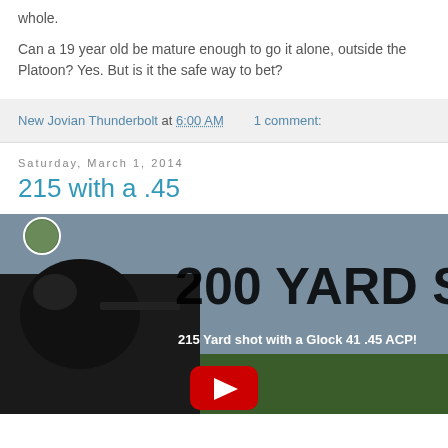whole.
Can a 19 year old be mature enough to go it alone, outside the Platoon?  Yes.  But is it the safe way to bet?
New Jovian Thunderbolt at 6:00 AM    1 comment:
Saturday, March 1, 2014
215 with a .45
[Figure (screenshot): Video thumbnail showing a person aiming a pistol with text '215 Yard shot with a Glock 41 .45 ACP!' and large text '200 YARD S' overlaid. YouTube play button visible at bottom center.]